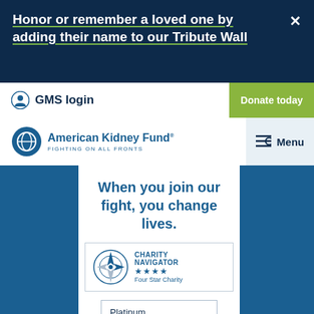Honor or remember a loved one by adding their name to our Tribute Wall
GMS login
Donate today
[Figure (logo): American Kidney Fund logo with tagline FIGHTING ON ALL FRONTS]
Menu
When you join our fight, you change lives.
[Figure (logo): Charity Navigator Four Star Charity badge with compass rose icon and four stars]
[Figure (logo): Candid Platinum Transparency 2022 badge]